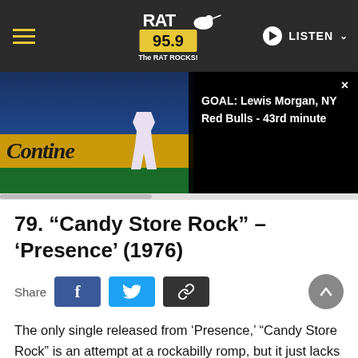RAT 95.9 The RAT ROCKS! | LISTEN
[Figure (screenshot): Video screenshot of soccer player with Corona advertisement banner, overlaid with a dark notification card reading: GOAL: Lewis Morgan, NY Red Bulls - 43rd minute]
79. “Candy Store Rock” – ‘Presence’ (1976)
Share
The only single released from ‘Presence,’ “Candy Store Rock” is an attempt at a rockabilly romp, but it just lacks the Bo Diddley energy Zeppelin were clearly trying to channel. (EB)